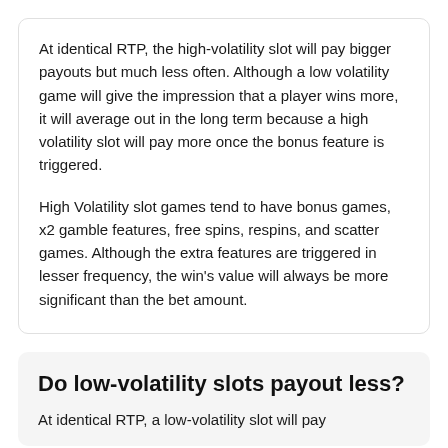At identical RTP, the high-volatility slot will pay bigger payouts but much less often. Although a low volatility game will give the impression that a player wins more, it will average out in the long term because a high volatility slot will pay more once the bonus feature is triggered.
High Volatility slot games tend to have bonus games, x2 gamble features, free spins, respins, and scatter games. Although the extra features are triggered in lesser frequency, the win's value will always be more significant than the bet amount.
Do low-volatility slots payout less?
At identical RTP, a low-volatility slot will pay…